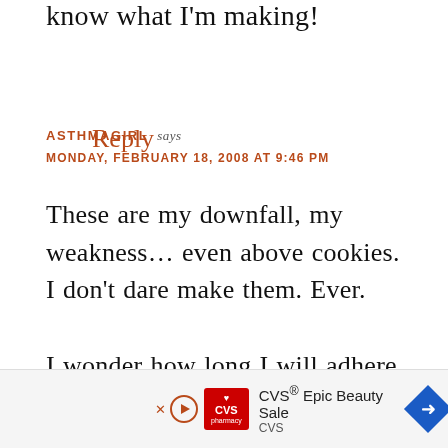know what I'm making!
Reply
ASTHMAGIRL says
MONDAY, FEBRUARY 18, 2008 AT 9:46 PM
These are my downfall, my weakness… even above cookies. I don't dare make them. Ever.

I wonder how long I will adhere to that statement!
Reply
[Figure (screenshot): CVS pharmacy advertisement banner showing CVS logo, 'CVS® Epic Beauty Sale' text, a play button, and a blue direction arrow icon]